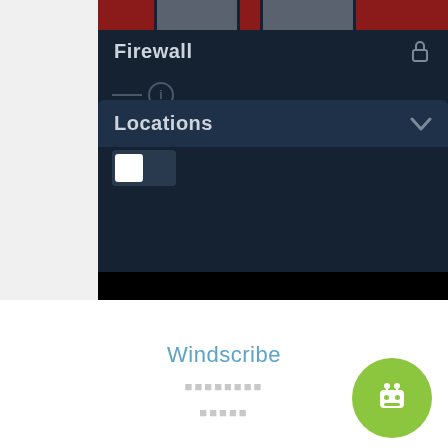[Figure (screenshot): A cropped screenshot of a VPN app (Windscribe) showing a dark-themed panel with 'Firewall' label and toggle, 'Locations' dropdown, a lock icon, and an info button. Below the screenshot is a white area with 'Windscribe' text in blue, placeholder dots, and a green robot avatar circle in bottom-right.]